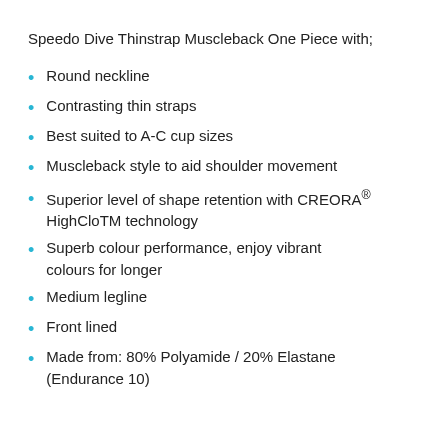Speedo Dive Thinstrap Muscleback One Piece with;
Round neckline
Contrasting thin straps
Best suited to A-C cup sizes
Muscleback style to aid shoulder movement
Superior level of shape retention with CREORA® HighCloTM technology
Superb colour performance, enjoy vibrant colours for longer
Medium legline
Front lined
Made from: 80% Polyamide / 20% Elastane (Endurance 10)